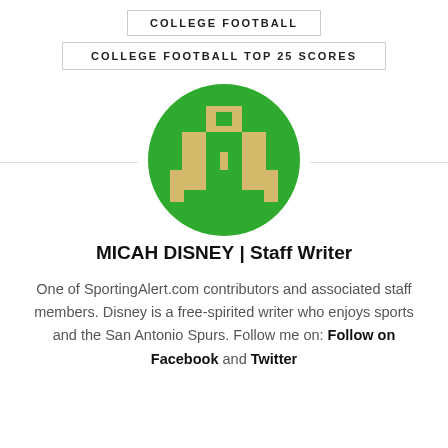COLLEGE FOOTBALL
COLLEGE FOOTBALL TOP 25 SCORES
[Figure (logo): Circular green logo with a pixelated gold/tan letter A design on green background — SportingAlert.com logo]
MICAH DISNEY | Staff Writer
One of SportingAlert.com contributors and associated staff members. Disney is a free-spirited writer who enjoys sports and the San Antonio Spurs. Follow me on: Follow on Facebook and Twitter